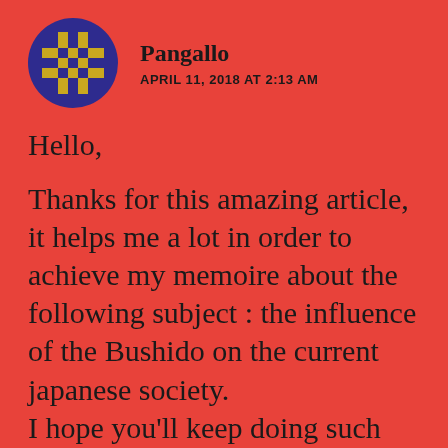[Figure (illustration): Circular avatar icon with dark blue/purple background and a gold/yellow pixel-art style cross or hashtag symbol in the center]
Pangallo
APRIL 11, 2018 AT 2:13 AM
Hello,

Thanks for this amazing article, it helps me a lot in order to achieve my memoire about the following subject : the influence of the Bushido on the current japanese society.
I hope you'll keep doing such good article about this astonished subject.